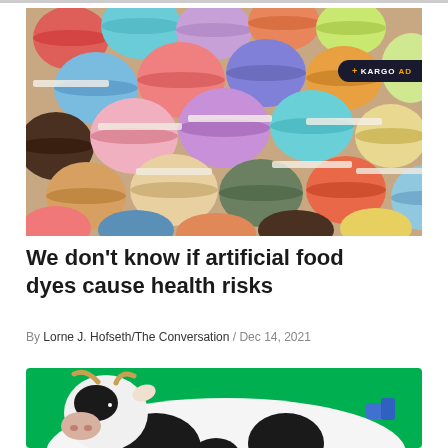[Figure (photo): Colorful macarons in various colors (teal, blue, red, orange, pink, purple, green, brown, yellow) piled together. A dark rounded badge in the top-right corner reads '+ KARGO AD'.]
We don't know if artificial food dyes cause health risks
By Lorne J. Hofseth/The Conversation / Dec 14, 2021
[Figure (photo): A black and white cow photographed against a bright green background, partially cropped at the bottom of the page.]